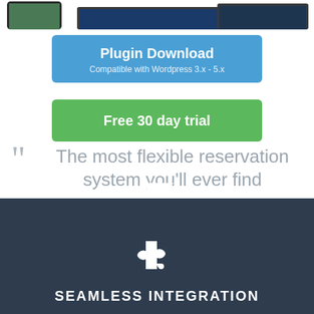[Figure (illustration): Cropped tops of a mobile phone and laptop device]
Plugin Download
Compatible with Wordpress 3.x - 5.x
Free 30 day trial
The most flexible reservation system you'll ever find
[Figure (illustration): Dark section with puzzle piece icon and SEAMLESS INTEGRATION label]
SEAMLESS INTEGRATION